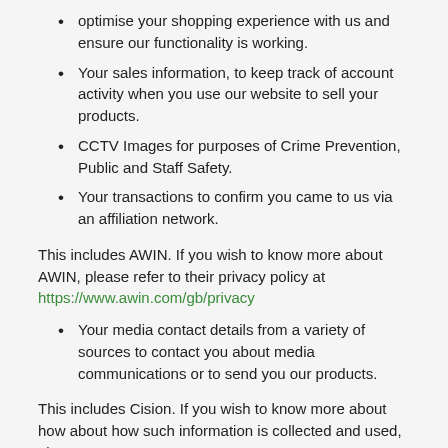optimise your shopping experience with us and ensure our functionality is working.
Your sales information, to keep track of account activity when you use our website to sell your products.
CCTV Images for purposes of Crime Prevention, Public and Staff Safety.
Your transactions to confirm you came to us via an affiliation network.
This includes AWIN. If you wish to know more about AWIN, please refer to their privacy policy at https://www.awin.com/gb/privacy
Your media contact details from a variety of sources to contact you about media communications or to send you our products.
This includes Cision. If you wish to know more about how about how such information is collected and used, please